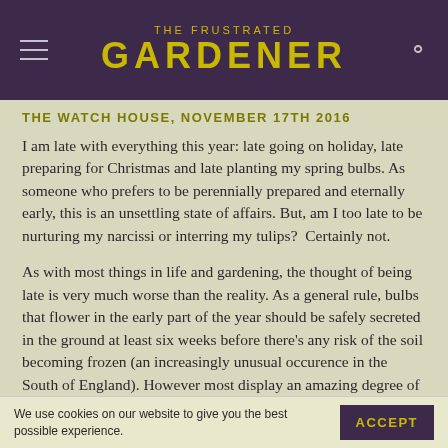THE FRUSTRATED GARDENER
THE WATCH HOUSE, NOVEMBER 17TH 2016
I am late with everything this year: late going on holiday, late preparing for Christmas and late planting my spring bulbs. As someone who prefers to be perennially prepared and eternally early, this is an unsettling state of affairs. But, am I too late to be nurturing my narcissi or interring my tulips?  Certainly not.
As with most things in life and gardening, the thought of being late is very much worse than the reality. As a general rule, bulbs that flower in the early part of the year should be safely secreted in the ground at least six weeks before there's any risk of the soil becoming frozen (an increasingly unusual occurence in the South of England). However most display an amazing degree of tolerance when it comes to being planted late, even if this is delayed until the New Year. As long as the
We use cookies on our website to give you the best possible experience.